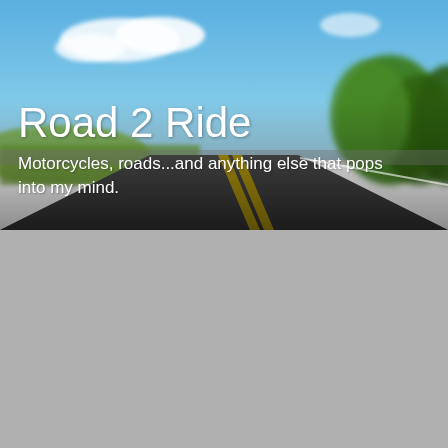[Figure (photo): Blurred road scene with blue sky, green trees, and a road with yellow center lines receding into the distance, serving as a blog header background image]
Road 2 Ride
Motorcycles, roads...and anything else that pops into my mind.
TUESDAY, JULY 8, 2008
A wet 4th of July suspension bridge trip
[Figure (illustration): Warning/caution triangle icon with exclamation mark, grey colored]